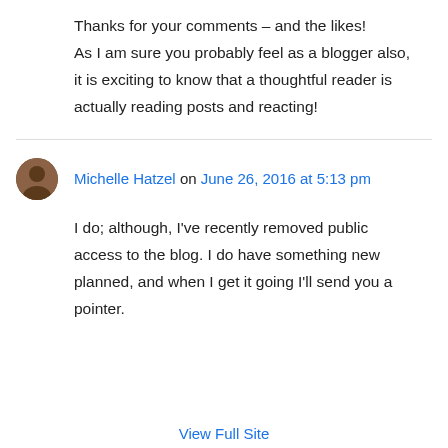Thanks for your comments – and the likes! As I am sure you probably feel as a blogger also, it is exciting to know that a thoughtful reader is actually reading posts and reacting!
Michelle Hatzel on June 26, 2016 at 5:13 pm
I do; although, I've recently removed public access to the blog. I do have something new planned, and when I get it going I'll send you a pointer.
View Full Site